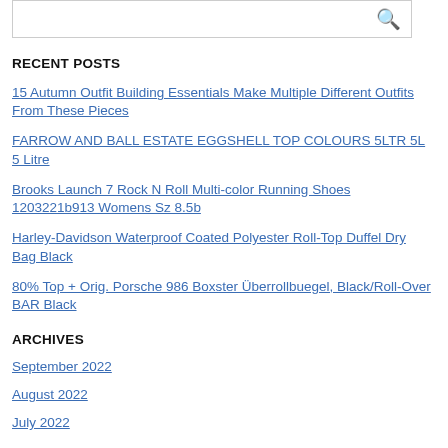RECENT POSTS
15 Autumn Outfit Building Essentials Make Multiple Different Outfits From These Pieces
FARROW AND BALL ESTATE EGGSHELL TOP COLOURS 5LTR 5L 5 Litre
Brooks Launch 7 Rock N Roll Multi-color Running Shoes 1203221b913 Womens Sz 8.5b
Harley-Davidson Waterproof Coated Polyester Roll-Top Duffel Dry Bag Black
80% Top + Orig. Porsche 986 Boxster Überrollbuegel, Black/Roll-Over BAR Black
ARCHIVES
September 2022
August 2022
July 2022